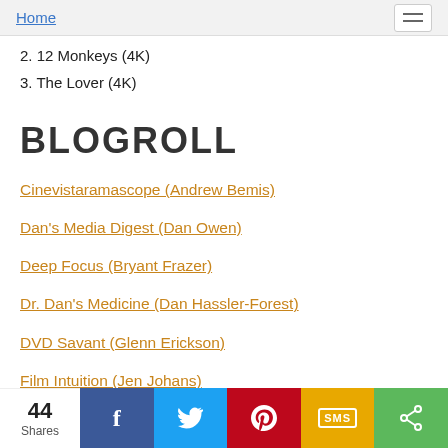Home
2. 12 Monkeys (4K)
3. The Lover (4K)
BLOGROLL
Cinevistaramascope (Andrew Bemis)
Dan's Media Digest (Dan Owen)
Deep Focus (Bryant Frazer)
Dr. Dan's Medicine (Dan Hassler-Forest)
DVD Savant (Glenn Erickson)
Film Intuition (Jen Johans)
Lessons of Darkness (Nick Schager)